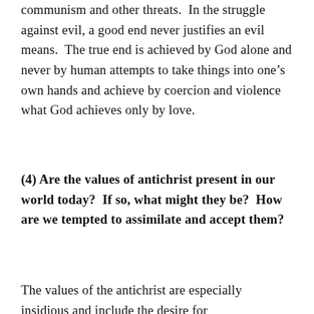communism and other threats.  In the struggle against evil, a good end never justifies an evil means.  The true end is achieved by God alone and never by human attempts to take things into one’s own hands and achieve by coercion and violence what God achieves only by love.
(4) Are the values of antichrist present in our world today?  If so, what might they be?  How are we tempted to assimilate and accept them?
The values of the antichrist are especially insidious and include the desire for...